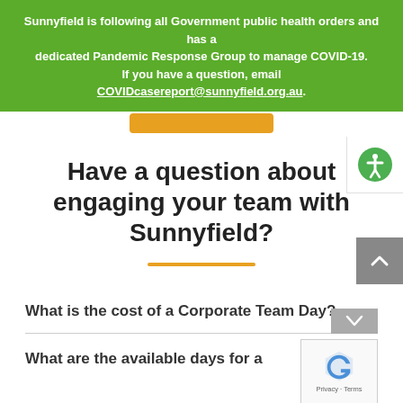Sunnyfield is following all Government public health orders and has a dedicated Pandemic Response Group to manage COVID-19. If you have a question, email COVIDcasereport@sunnyfield.org.au.
Have a question about engaging your team with Sunnyfield?
What is the cost of a Corporate Team Day?
What are the available days for a